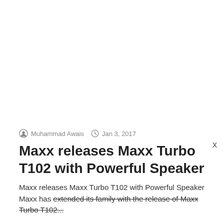Muhammad Awais  Jan 3, 2017
Maxx releases Maxx Turbo T102 with Powerful Speaker
Maxx releases Maxx Turbo T102 with Powerful Speaker Maxx has extended its family with the release of Maxx Turbo T102...